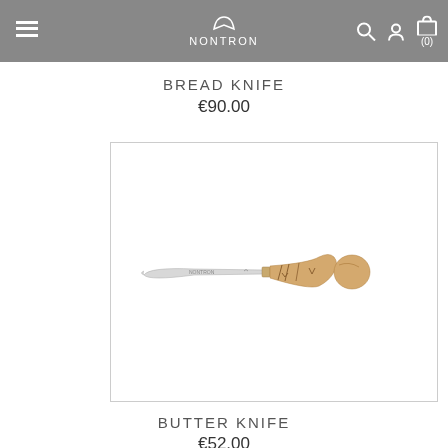NONTRON
BREAD KNIFE
€90.00
[Figure (photo): A Nontron butter knife with a stainless steel blade and a round-tipped wooden handle with decorative carved lines]
BUTTER KNIFE
€52.00